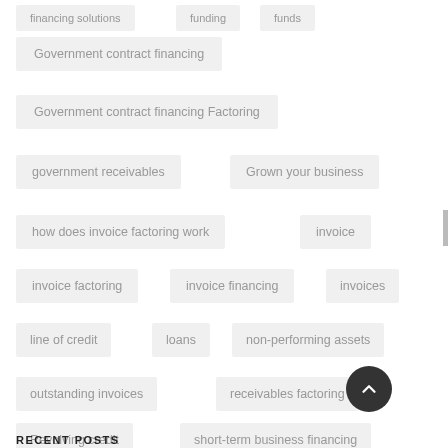financing solutions
funding
funds
Government contract financing
Government contract financing Factoring
government receivables
Grown your business
how does invoice factoring work
invoice
invoice factoring
invoice financing
invoices
line of credit
loans
non-performing assets
outstanding invoices
receivables factoring
Revolving credit
short-term business financing
short-term capital
unpaid invoices
working capital
RECENT POSTS